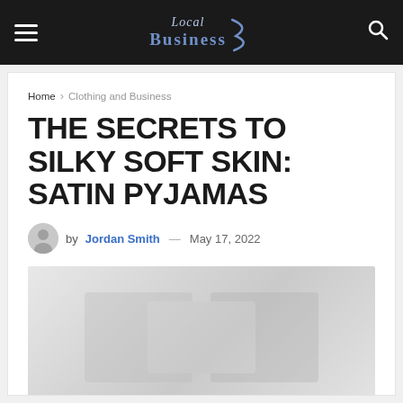Local Business
Home › Clothing and Business
THE SECRETS TO SILKY SOFT SKIN: SATIN PYJAMAS
by Jordan Smith — May 17, 2022
[Figure (photo): Article featured image showing satin pyjamas, presented as a light gray placeholder image]